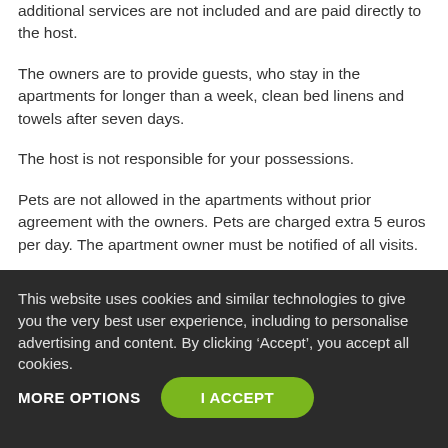additional services are not included and are paid directly to the host.
The owners are to provide guests, who stay in the apartments for longer than a week, clean bed linens and towels after seven days.
The host is not responsible for your possessions.
Pets are not allowed in the apartments without prior agreement with the owners. Pets are charged extra 5 euros per day. The apartment owner must be notified of all visits.
Guests which are not registered as the guests of the apartment are not permitted to stay overnight.
This website uses cookies and similar technologies to give you the very best user experience, including to personalise advertising and content. By clicking ‘Accept’, you accept all cookies.
MORE OPTIONS
I ACCEPT